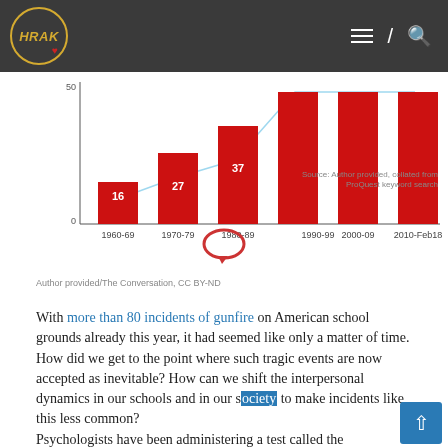HRAK
[Figure (bar-chart): School shootings by decade]
Source: Author provided, collated from ProQuest keyword search
Author provided/The Conversation, CC BY-ND
With more than 80 incidents of gunfire on American school grounds already this year, it had seemed like only a matter of time. How did we get to the point where such tragic events are now accepted as inevitable? How can we shift the interpersonal dynamics in our schools and in our society to make incidents like this less common? Psychologists have been administering a test called the